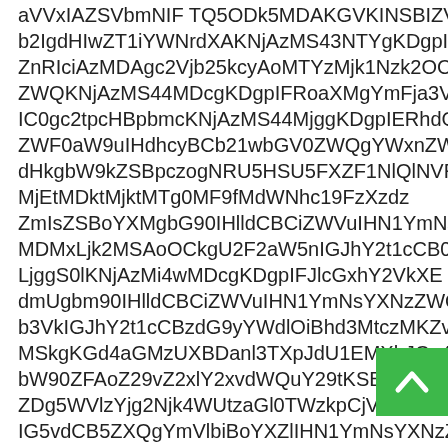aVVxIAZSVbmNIF TQ5ODk5MDAKGVKINSBIZVd1b
b2IgdHIwZT1iYWNrdXAKNjAzMS43NTYgKDgpIFNj
ZnRIciAzMDAgc2Vjb25kcyAoMTYzMjk1Nzk2OCkgV
ZWQKNjAzMS44MDcgKDgpIFRoaXMgYmFja3VwIGZvIH
IC0gc2tpcHBpbmcKNjAzMS44MjggKDgpIERhdGFiYXN
ZWF0aW9uIHdhcyBCb21wbGV0ZWQgYWxnZWFkeQ
dHkgbW9kZSBpczogNRU5HSU5FXZF1NlQlNVR
MjEtMDktMjktMTg0MF9fMdWNhc19FzXzdz
ZmIsZSBoYXMgbG90IHlldCBCiZWVuIHN1YmNcNm
MDMxLjk2MSAoOCkgU2F2aW5nIGJhY2t1cCB0byBoa
LjggS0lKNjAzMi4wMDcgKDgpIFJlcGxhY2VkXE
dmUgbm90IHlldCBCiZWVuIHN1YmNsYXNzZWQB
b3VkIGJhY2t1cCBzdG9yYWdlOiBhd3MtczMKZvb2
MSkgKGd4aGMzUXBDanl3TXpJdU1EMXhJCg4KSBCZWdpbm
bW90ZFAoZ29vZ2xlY2xvdWQuY29tKSBVcENobnBibk0
ZDg5WVlzYjg2Njk4WUtzaGl0TWzkpCjV3TXpJdU1UF...K
IG5vdCB5ZXQgYmVlbiBoYXZlIHN1YmNsYXNzZWRh
[Figure (other): Green scroll-to-top button with upward arrow chevron, positioned at bottom right]